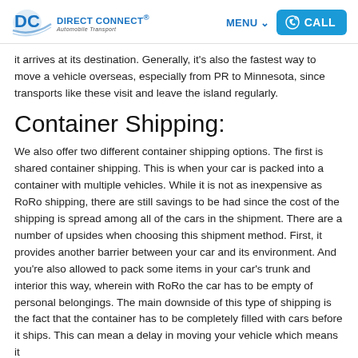DIRECT CONNECT® Automobile Transport | MENU | CALL
it arrives at its destination. Generally, it's also the fastest way to move a vehicle overseas, especially from PR to Minnesota, since transports like these visit and leave the island regularly.
Container Shipping:
We also offer two different container shipping options. The first is shared container shipping. This is when your car is packed into a container with multiple vehicles. While it is not as inexpensive as RoRo shipping, there are still savings to be had since the cost of the shipping is spread among all of the cars in the shipment. There are a number of upsides when choosing this shipment method. First, it provides another barrier between your car and its environment. And you're also allowed to pack some items in your car's trunk and interior this way, wherein with RoRo the car has to be empty of personal belongings. The main downside of this type of shipping is the fact that the container has to be completely filled with cars before it ships. This can mean a delay in moving your vehicle which means it